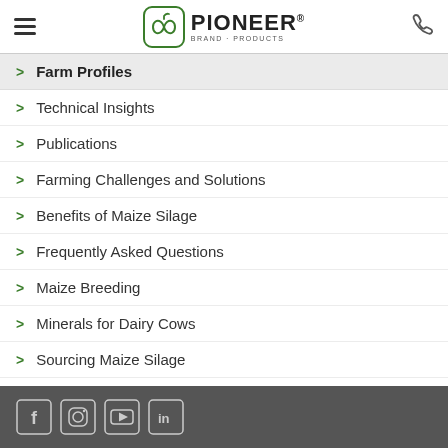Pioneer Brand Products — navigation header
Farm Profiles
Technical Insights
Publications
Farming Challenges and Solutions
Benefits of Maize Silage
Frequently Asked Questions
Maize Breeding
Minerals for Dairy Cows
Sourcing Maize Silage
Social media icons: Facebook, Instagram, YouTube, LinkedIn